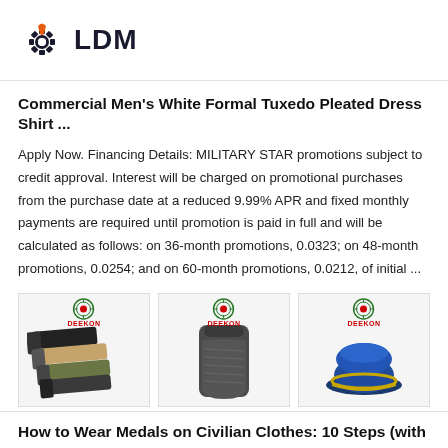LDM
Commercial Men's White Formal Tuxedo Pleated Dress Shirt ...
Apply Now. Financing Details: MILITARY STAR promotions subject to credit approval. Interest will be charged on promotional purchases from the purchase date at a reduced 9.99% APR and fixed monthly payments are required until promotion is paid in full and will be calculated as follows: on 36-month promotions, 0.0323; on 48-month promotions, 0.0254; and on 60-month promotions, 0.0212, of initial ...
[Figure (photo): Three product images with DEEKON branding: tactical belts, armor plate, and blue military cap]
How to Wear Medals on Civilian Clothes: 10 Steps (with